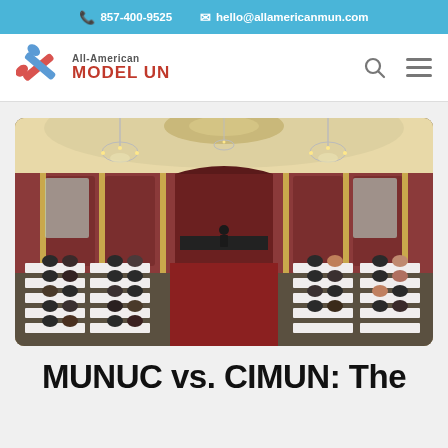857-400-9525   hello@allamericanmun.com
[Figure (logo): All-American Model UN logo with crossed gavels icon, text 'All-American MODEL UN']
[Figure (photo): Large ornate ballroom filled with students seated at white-draped tables arranged in rows facing a head table with speakers, chandeliers, red and gold decor — a Model UN conference session]
MUNUC vs. CIMUN: The